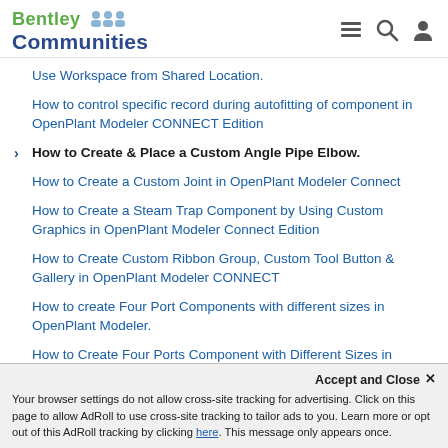Bentley Communities
Use Workspace from Shared Location.
How to control specific record during autofitting of component in OpenPlant Modeler CONNECT Edition
How to Create & Place a Custom Angle Pipe Elbow.
How to Create a Custom Joint in OpenPlant Modeler Connect
How to Create a Steam Trap Component by Using Custom Graphics in OpenPlant Modeler Connect Edition
How to Create Custom Ribbon Group, Custom Tool Button & Gallery in OpenPlant Modeler CONNECT
How to create Four Port Components with different sizes in OpenPlant Modeler.
How to Create Four Ports Component with Different Sizes in OpenPlant Modeler Connect
How To Create New Associated Property Using Class Editor in OpenPlant Connect Edition
How to Create Search Criteria to Include Pl... Find By in OpenPlant Modeler Connect...
Accept and Close ×
Your browser settings do not allow cross-site tracking for advertising. Click on this page to allow AdRoll to use cross-site tracking to tailor ads to you. Learn more or opt out of this AdRoll tracking by clicking here. This message only appears once.